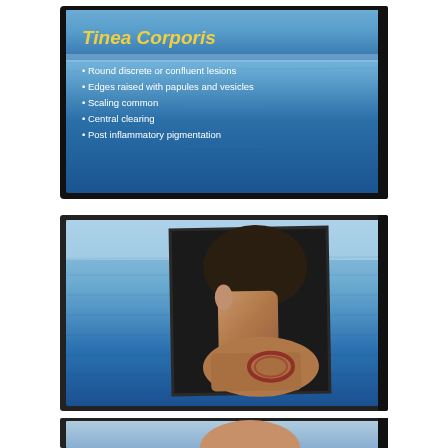[Figure (photo): Presentation slide on blue ocean background showing title 'Tinea Corporis' in yellow bold italic text with bullet points in white text listing: Round discrete or confluent lesions, Edges raised with papules and vesicles, Scaling common, Central clearing, Post inflammatory pigmentation]
[Figure (photo): Medical slide showing a clinical photograph of a patient's neck and upper back/shoulder area with a visible skin lesion (reddish-brown ring-shaped lesion on the shoulder), set against a blue ocean background]
[Figure (photo): Partial view of a third medical slide (cut off at bottom of page), showing a close-up clinical photograph on blue background]